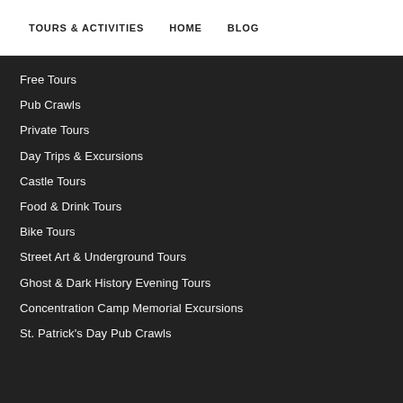TOURS & ACTIVITIES   HOME   BLOG
Free Tours
Pub Crawls
Private Tours
Day Trips & Excursions
Castle Tours
Food & Drink Tours
Bike Tours
Street Art & Underground Tours
Ghost & Dark History Evening Tours
Concentration Camp Memorial Excursions
St. Patrick's Day Pub Crawls